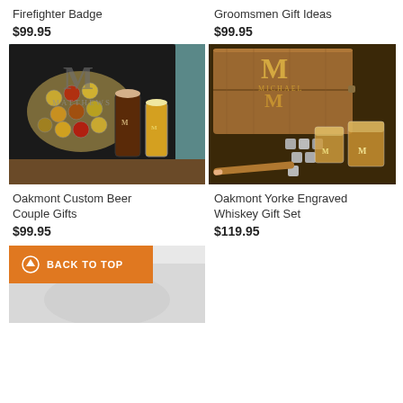Firefighter Badge
$99.95
Groomsmen Gift Ideas
$99.95
[Figure (photo): Shadow box with M MATTHEWS monogram filled with bottle caps, two beer glasses with M monogram in front]
[Figure (photo): Wooden engraved box with M MICHAEL monogram, two whiskey glasses with M monogram and whiskey stones on dark table]
Oakmont Custom Beer Couple Gifts
$99.95
Oakmont Yorke Engraved Whiskey Gift Set
$119.95
BACK TO TOP
[Figure (photo): Partial view of a light colored product photo at the bottom]